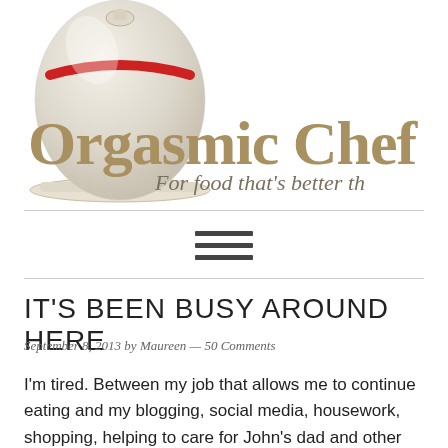[Figure (logo): Orgasmic Chef blog header with a cloche (food dome) illustration, site title 'Orgasmic Chef' in gold serif font, tagline 'For food that's better th...' in italic]
[Figure (other): Hamburger navigation menu icon (three horizontal bars)]
IT'S BEEN BUSY AROUND HERE
September 8, 2013 by Maureen — 50 Comments
I'm tired.  Between my job that allows me to continue eating and my blogging, social media, housework, shopping, helping to care for John's dad and other commitments, I wanted to fit in the Real